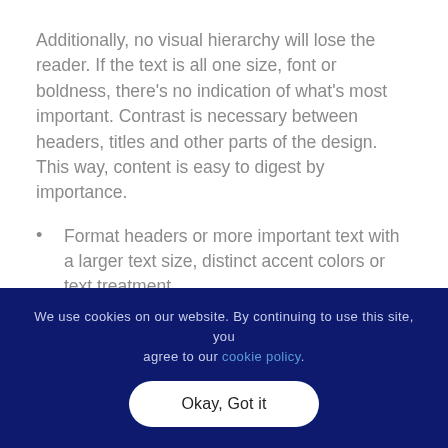Additionally, no visual hierarchy will lose the reader. If the text is all one size, font or boldness, there's no indication of what's most important. Contrast is necessary between headers, titles and other parts of the design. This way, content is easy to digest by importance.
Format headers or more important text with a larger text size, distinct accent colors or text treatment
Use smaller text or an italic for a subhead
We use cookies on our website. By continuing to use this site, you agree to our cookie policy.